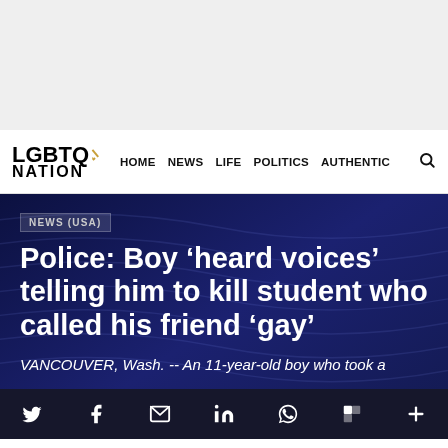[Figure (other): Gray advertisement banner area at top of page]
LGBTQ NATION   HOME   NEWS   LIFE   POLITICS   AUTHENTIC
NEWS (USA)
Police: Boy ‘heard voices’ telling him to kill student who called his friend ‘gay’
VANCOUVER, Wash. -- An 11-year-old boy who took a
Social share icons: Twitter, Facebook, Email, LinkedIn, WhatsApp, Flipboard, More